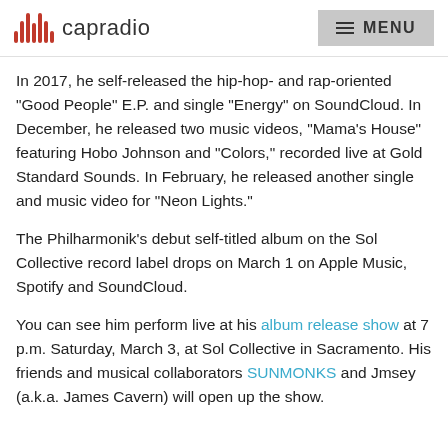capradio  MENU
In 2017, he self-released the hip-hop- and rap-oriented "Good People" E.P. and single "Energy" on SoundCloud. In December, he released two music videos, "Mama's House" featuring Hobo Johnson and "Colors," recorded live at Gold Standard Sounds. In February, he released another single and music video for "Neon Lights."
The Philharmonik's debut self-titled album on the Sol Collective record label drops on March 1 on Apple Music, Spotify and SoundCloud.
You can see him perform live at his album release show at 7 p.m. Saturday, March 3, at Sol Collective in Sacramento. His friends and musical collaborators SUNMONKS and Jmsey (a.k.a. James Cavern) will open up the show.